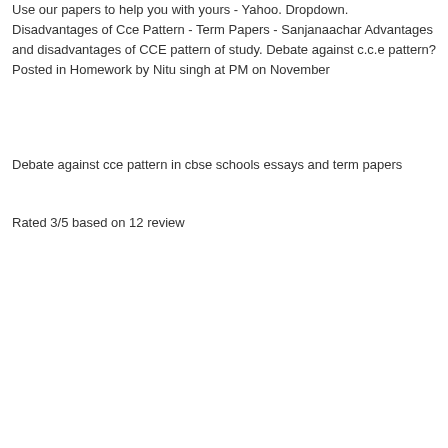Use our papers to help you with yours - Yahoo. Dropdown. Disadvantages of Cce Pattern - Term Papers - Sanjanaachar Advantages and disadvantages of CCE pattern of study. Debate against c.c.e pattern? Posted in Homework by Nitu singh at PM on November
Debate against cce pattern in cbse schools essays and term papers
Rated 3/5 based on 12 review
| The importance of father and son relationship in arthur millers writings |
| Economic and monetary union emu |
| The displays of affection and emotion in othello a play by |